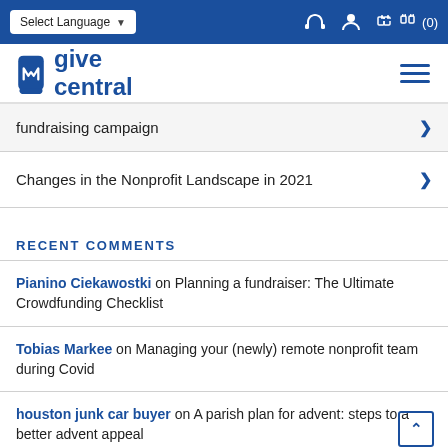Select Language | GiveCentral navigation header with icons
[Figure (logo): GiveCentral logo with stylized 'm' icon and text 'give central' in blue]
fundraising campaign >
Changes in the Nonprofit Landscape in 2021 >
RECENT COMMENTS
Pianino Ciekawostki on Planning a fundraiser: The Ultimate Crowdfunding Checklist
Tobias Markee on Managing your (newly) remote nonprofit team during Covid
houston junk car buyer on A parish plan for advent: steps to a better advent appeal